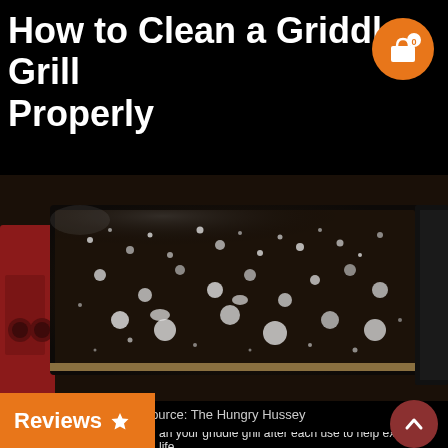How to Clean a Griddle Grill Properly
[Figure (photo): A red griddle grill covered with water droplets and steam, being cleaned, viewed from above at an angle.]
Source: The Hungry Hussey
Reviews ★
an your griddle grill after each use to help extend its life